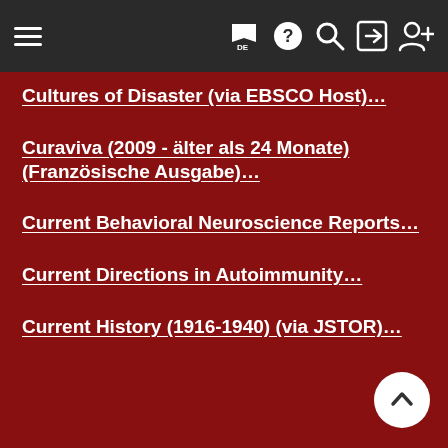Navigation header with hamburger menu and icons: flag (DE), help, search, login, register
Cultures of Disaster (via EBSCO Host)...
Curaviva (2009 - älter als 24 Monate) (Französische Ausgabe)...
Current Behavioral Neuroscience Reports...
Current Directions in Autoimmunity...
Current History (1916-1940) (via JSTOR)...